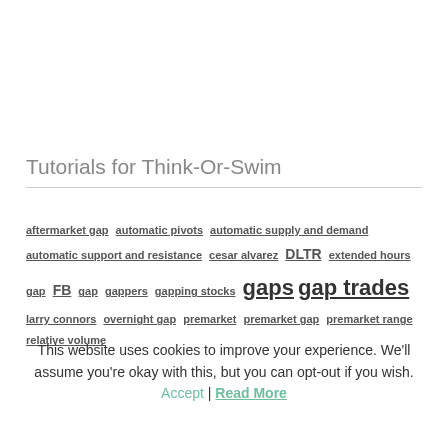Tutorials for Think-Or-Swim
aftermarket gap automatic pivots automatic supply and demand automatic support and resistance cesar alvarez DLTR extended hours gap FB gap gappers gapping stocks gaps gap trades larry connors overnight gap premarket premarket gap premarket range relative volume
This website uses cookies to improve your experience. We'll assume you're okay with this, but you can opt-out if you wish. Accept | Read More